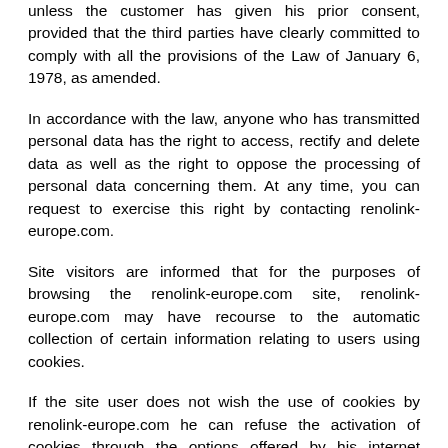unless the customer has given his prior consent, provided that the third parties have clearly committed to comply with all the provisions of the Law of January 6, 1978, as amended.
In accordance with the law, anyone who has transmitted personal data has the right to access, rectify and delete data as well as the right to oppose the processing of personal data concerning them. At any time, you can request to exercise this right by contacting renolink-europe.com.
Site visitors are informed that for the purposes of browsing the renolink-europe.com site, renolink-europe.com may have recourse to the automatic collection of certain information relating to users using cookies.
If the site user does not wish the use of cookies by renolink-europe.com he can refuse the activation of cookies through the options offered by his internet browser. For technical reasons, if the user deactivates cookies in his browser,